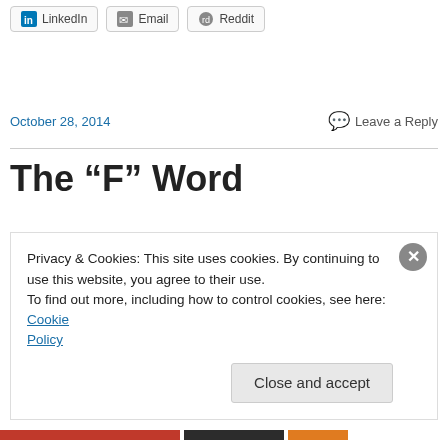LinkedIn  Email  Reddit
October 28, 2014
Leave a Reply
The “F” Word
As you may have noticed, I get very nostalgic when you hit major milestones: your first laugh, your first words, your
Privacy & Cookies: This site uses cookies. By continuing to use this website, you agree to their use.
To find out more, including how to control cookies, see here: Cookie Policy
Close and accept